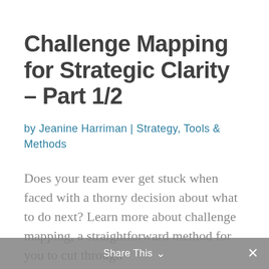Challenge Mapping for Strategic Clarity – Part 1/2
by Jeanine Harriman | Strategy, Tools & Methods
Does your team ever get stuck when faced with a thorny decision about what to do next? Learn more about challenge mapping, a straightforward method for you to cut through
Share This ∨  ✕